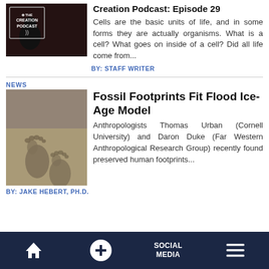[Figure (photo): The Creation Podcast logo on dark background]
Creation Podcast: Episode 29
Cells are the basic units of life, and in some forms they are actually organisms. What is a cell? What goes on inside of a cell? Did all life come from...
BY: STAFF WRITER
NEWS
[Figure (photo): Fossil human footprints in sandy sediment]
Fossil Footprints Fit Flood Ice-Age Model
Anthropologists Thomas Urban (Cornell University) and Daron Duke (Far Western Anthropological Research Group) recently found preserved human footprints...
BY: JAKE HEBERT, PH.D.
Home | + | SOCIAL MEDIA | Menu